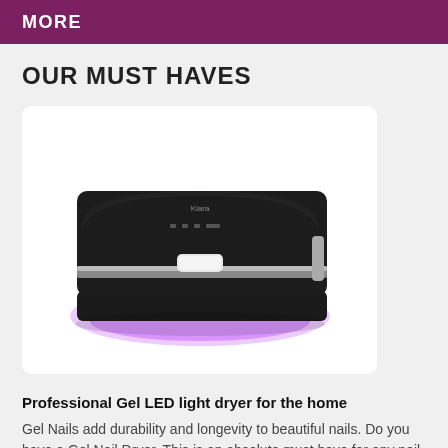MORE
OUR MUST HAVES
[Figure (photo): A black professional gel LED nail dryer lamp with purple UV light glowing underneath the arch opening, shot on white background.]
Professional Gel LED light dryer for the home
Gel Nails add durability and longevity to beautiful nails. Do you have a Gel Nail Dryer. This is an absolute must have for any nail